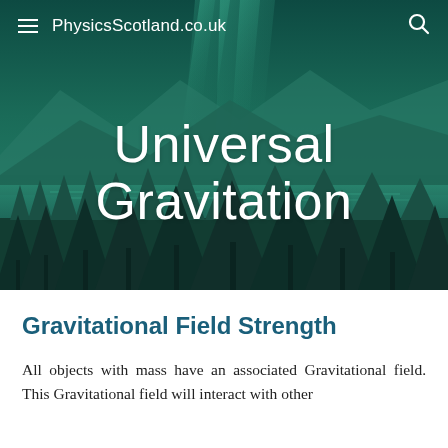[Figure (illustration): Hero banner image showing an illustrated night landscape with aurora borealis (northern lights) in green over mountains, a lake, and dark pine trees in the foreground. Dark teal/green color scheme.]
PhysicsScotland.co.uk
Universal Gravitation
Gravitational Field Strength
All objects with mass have an associated Gravitational field. This Gravitational field will interact with other...